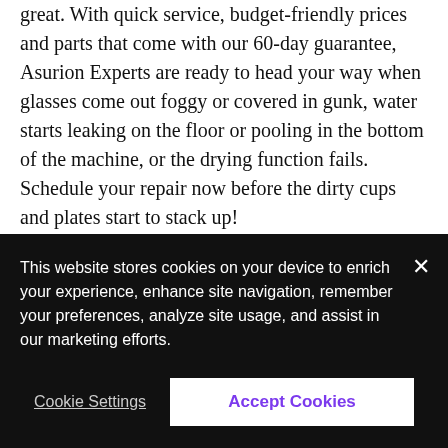great. With quick service, budget-friendly prices and parts that come with our 60-day guarantee, Asurion Experts are ready to head your way when glasses come out foggy or covered in gunk, water starts leaking on the floor or pooling in the bottom of the machine, or the drying function fails. Schedule your repair now before the dirty cups and plates start to stack up!
Washing machine and dryer repair near South Houston, TX
Trying to tune out a loud dryer? Troubleshoot a washer
This website stores cookies on your device to enrich your experience, enhance site navigation, remember your preferences, analyze site usage, and assist in our marketing efforts.